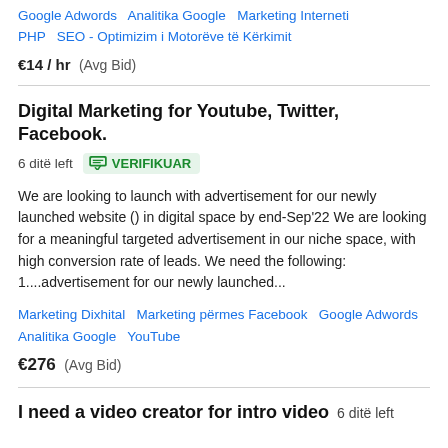Google Adwords  Analitika Google  Marketing Interneti  PHP  SEO - Optimizim i Motorëve të Kërkimit
€14 / hr  (Avg Bid)
Digital Marketing for Youtube, Twitter, Facebook.
6 ditë left  VERIFIKUAR
We are looking to launch with advertisement for our newly launched website () in digital space by end-Sep'22 We are looking for a meaningful targeted advertisement in our niche space, with high conversion rate of leads. We need the following: 1....advertisement for our newly launched...
Marketing Dixhital  Marketing përmes Facebook  Google Adwords  Analitika Google  YouTube
€276  (Avg Bid)
I need a video creator for intro video  6 ditë left